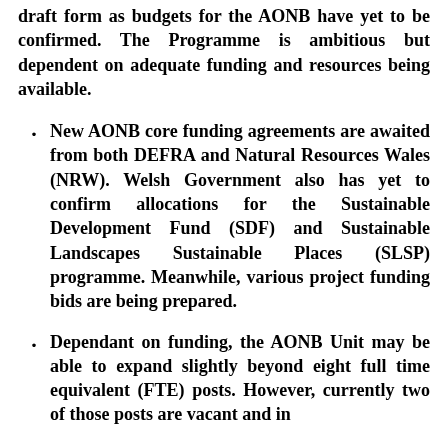draft form as budgets for the AONB have yet to be confirmed. The Programme is ambitious but dependent on adequate funding and resources being available.
New AONB core funding agreements are awaited from both DEFRA and Natural Resources Wales (NRW). Welsh Government also has yet to confirm allocations for the Sustainable Development Fund (SDF) and Sustainable Landscapes Sustainable Places (SLSP) programme. Meanwhile, various project funding bids are being prepared.
Dependant on funding, the AONB Unit may be able to expand slightly beyond eight full time equivalent (FTE) posts. However, currently two of those posts are vacant and in